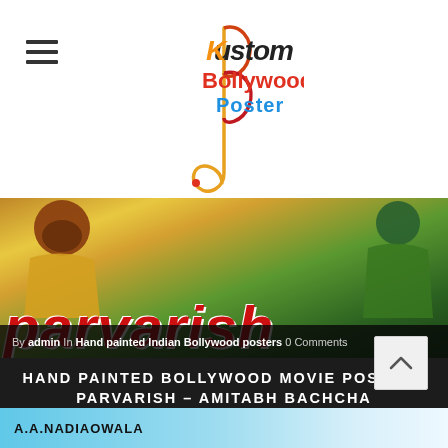Kustom Bollywood Poster
[Figure (photo): Hand painted Bollywood movie poster for Parvarish featuring Amitabh Bachchan, colorful illustrated style with large red text 'Parvarish' at bottom]
By admin In Hand painted Indian Bollywood posters 0 Comments
HAND PAINTED BOLLYWOOD MOVIE POSTERS PARVARISH – AMITABH BACHCHA
February 3, 2016
[Figure (photo): Second Bollywood poster strip showing 'A.A.NADIAOWALA' text on light blue background]